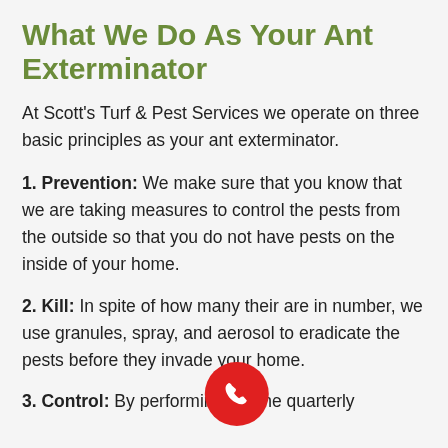What We Do As Your Ant Exterminator
At Scott's Turf & Pest Services we operate on three basic principles as your ant exterminator.
1. Prevention: We make sure that you know that we are taking measures to control the pests from the outside so that you do not have pests on the inside of your home.
2. Kill: In spite of how many their are in number, we use granules, spray, and aerosol to eradicate the pests before they invade your home.
3. Control: By performing routine quarterly
[Figure (illustration): Red circular phone/call button with white phone handset icon]